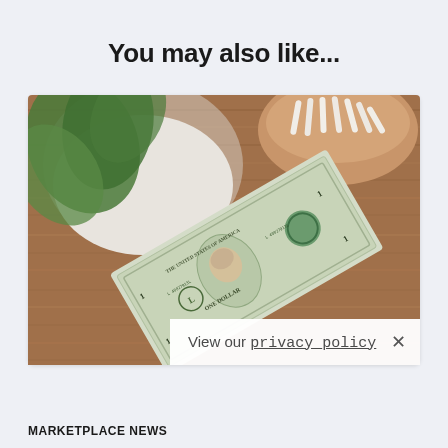You may also like...
[Figure (photo): A US one-dollar bill lying diagonally on a wooden table surface, with a white plate containing a plant and a bowl in the background, viewed from above.]
View our privacy_policy ×
MARKETPLACE NEWS